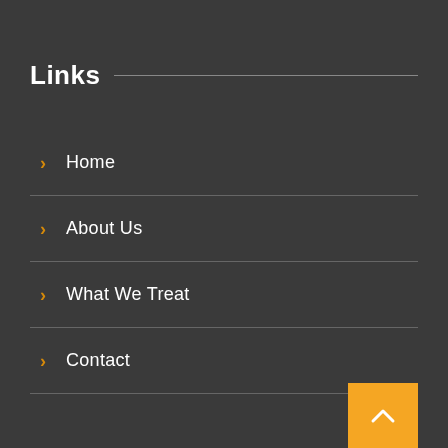Links
Home
About Us
What We Treat
Contact